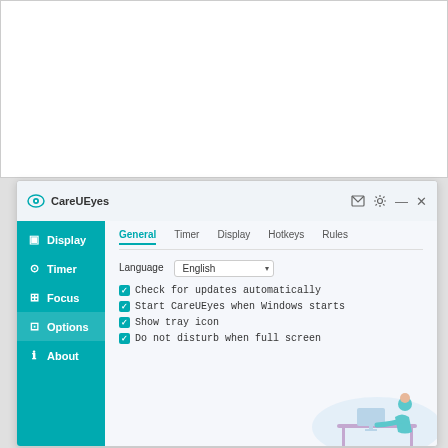[Figure (screenshot): Top white empty area, part of a document or webpage background]
[Figure (screenshot): CareUEyes application settings window showing General tab with options: Language (English), Check for updates automatically, Start CareUEyes when Windows starts, Show tray icon, Do not disturb when full screen. Left sidebar shows Display, Timer, Focus, Options (active), About navigation items.]